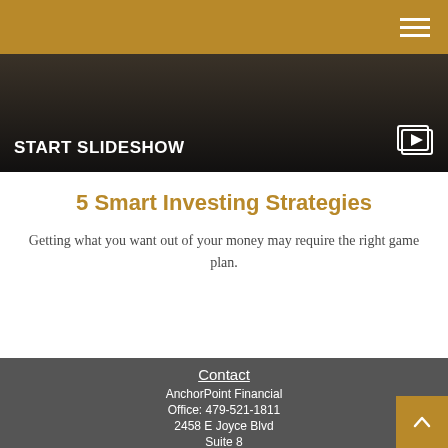AnchorPoint Financial header navigation
[Figure (screenshot): Dark slideshow banner with text START SLIDESHOW and a slideshow icon on the right]
5 Smart Investing Strategies
Getting what you want out of your money may require the right game plan.
Contact
AnchorPoint Financial
Office: 479-521-1811
2458 E Joyce Blvd
Suite 8
Fayetteville , AR 72703
info@anchorpointadvisors.com